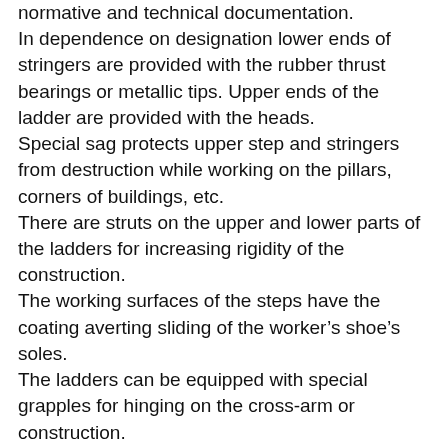normative and technical documentation.
In dependence on designation lower ends of stringers are provided with the rubber thrust bearings or metallic tips. Upper ends of the ladder are provided with the heads.
Special sag protects upper step and stringers from destruction while working on the pillars, corners of buildings, etc.
There are struts on the upper and lower parts of the ladders for increasing rigidity of the construction.
The working surfaces of the steps have the coating averting sliding of the worker’s shoe’s soles.
The ladders can be equipped with special grapples for hinging on the cross-arm or construction.
There are two types of ladders: with parallel and diverging stringers. The ladders with parallel stringers are used in wells and have letter “T” in its marking.